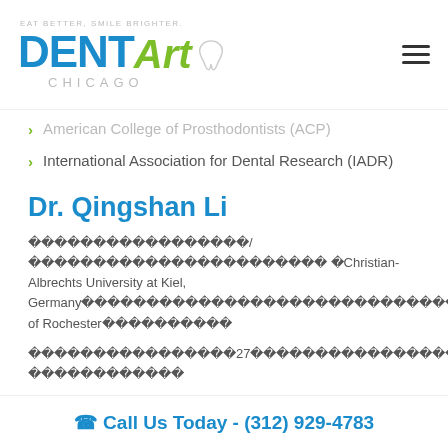EAT BETTER, SMILE BRIGHTER. DENT Art CHICAGO
American College of Prosthodontists (ACP)
International Association for Dental Research (IADR)
Dr. Qingshan Li
???????????????????/??????????????????????????? ?Christian-Albrechts University at Kiel, Germany????????????????????????????????????????????????University of Rochester??????????
?????????????????27??????????????????????????? ????????????
Call Us Today - (312) 929-4783